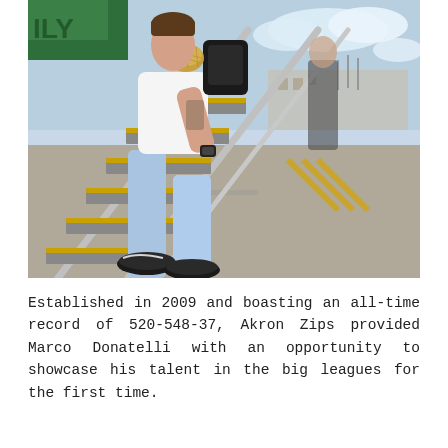[Figure (photo): A person wearing a white t-shirt, light blue jeans, and black Nike sneakers climbing metal airplane boarding stairs outdoors at an airport. They have tattoos on their arm and carry a bag. A green aircraft and airport terminal are visible in the background under a partly cloudy sky.]
Established in 2009 and boasting an all-time record of 520-548-37, Akron Zips provided Marco Donatelli with an opportunity to showcase his talent in the big leagues for the first time.